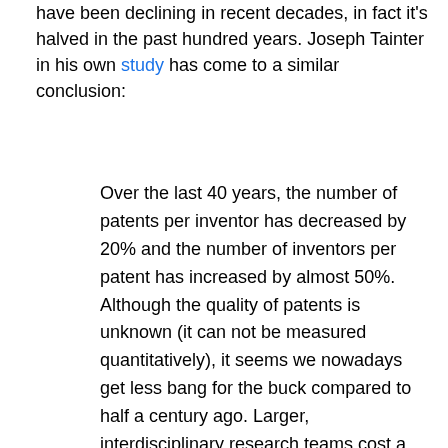have been declining in recent decades, in fact it's halved in the past hundred years. Joseph Tainter in his own study has come to a similar conclusion:
Over the last 40 years, the number of patents per inventor has decreased by 20% and the number of inventors per patent has increased by almost 50%. Although the quality of patents is unknown (it can not be measured quantitatively), it seems we nowadays get less bang for the buck compared to half a century ago. Larger, interdisciplinary research teams cost a lot more money as they need the support of administrative personnel and formal institutions. This decrease in productivity has been masked by the fact that the whole enterprise (research & development) has grown in absolute terms (i.e. more scientists and more money being poured into R&D). – Link